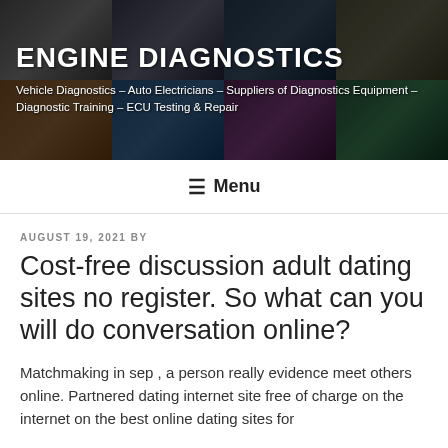[Figure (illustration): Website header banner with collage of engine diagnostics images (circuit boards, auto electrical equipment, wiring) as a grid background with dark overlay. Shows site title ENGINE DIAGNOSTICS and subtitle text about services.]
ENGINE DIAGNOSTICS
Vehicle Diagnostics – Auto Electricians – Suppliers of Diagnostics Equipment – Diagnostic Training – ECU Testing & Repair
≡ Menu
AUGUST 19, 2021 BY
Cost-free discussion adult dating sites no register. So what can you will do conversation online?
Matchmaking in sep , a person really evidence meet others online. Partnered dating internet site free of charge on the internet on the best online dating sites for